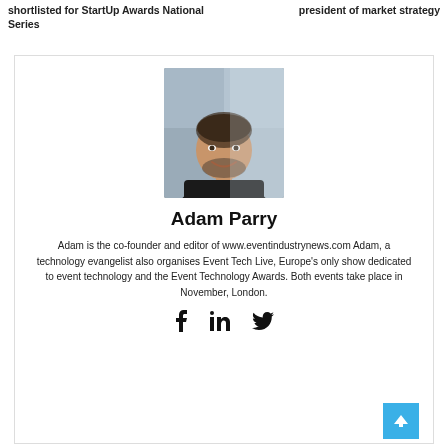shortlisted for StartUp Awards National Series
president of market strategy
[Figure (photo): Headshot photo of Adam Parry, a smiling man with short dark hair and beard, wearing a black shirt, with a blurred background.]
Adam Parry
Adam is the co-founder and editor of www.eventindustrynews.com Adam, a technology evangelist also organises Event Tech Live, Europe's only show dedicated to event technology and the Event Technology Awards. Both events take place in November, London.
[Figure (other): Social media icons: Facebook, LinkedIn, Twitter]